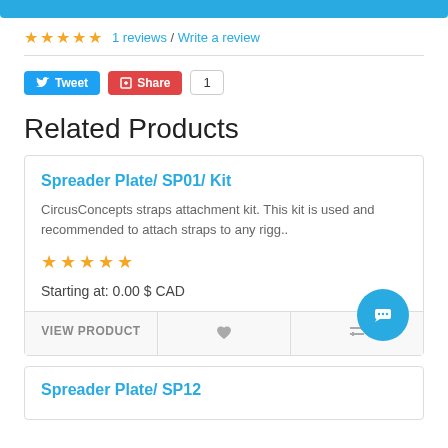★★★★★ 1 reviews / Write a review
Tweet | Share | 1
Related Products
Spreader Plate/ SP01/ Kit
CircusConcepts straps attachment kit. This kit is used and recommended to attach straps to any rigg..
★★★★★
Starting at: 0.00 $ CAD
VIEW PRODUCT
Spreader Plate/ SP12